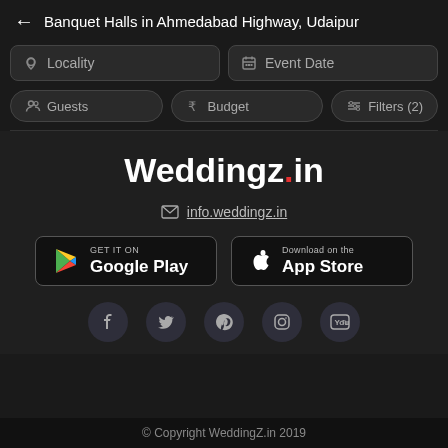Banquet Halls in Ahmedabad Highway, Udaipur
Locality
Event Date
Guests
Budget
Filters (2)
[Figure (logo): Weddingz.in logo in white bold text with red z]
info.weddingz.in
[Figure (screenshot): Google Play store badge]
[Figure (screenshot): Apple App Store badge]
[Figure (infographic): Social media icons: Facebook, Twitter, Pinterest, Instagram, YouTube]
© Copyright WeddingZ.in 2019